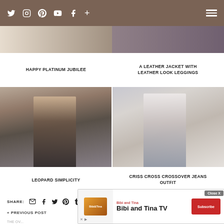Twitter Instagram Pinterest YouTube Facebook + (social icons) | Menu
[Figure (photo): Top strip showing cropped fashion blog photos - left side and right side]
HAPPY PLATINUM JUBILEE
A LEATHER JACKET WITH LEATHER LOOK LEGGINGS
[Figure (photo): Left: Fashion blogger wearing leopard print top, dark jeans and crossbody bag, standing outside]
[Figure (photo): Right: Fashion blogger wearing white crop top with gray oversized cardigan and jeans, holding bag]
LEOPARD SIMPLICITY
CRISS CROSS CROSSOVER JEANS OUTFIT
SHARE: (email) (facebook) (twitter) (pinterest) (tumblr)
« PREVIOUS POST
NEXT POST »
THE OV... SHIRT D...
...OGGER I – MAY
[Figure (screenshot): Advertisement overlay: Bibi and Tina TV YouTube channel ad with Close X button and Subscribe button]